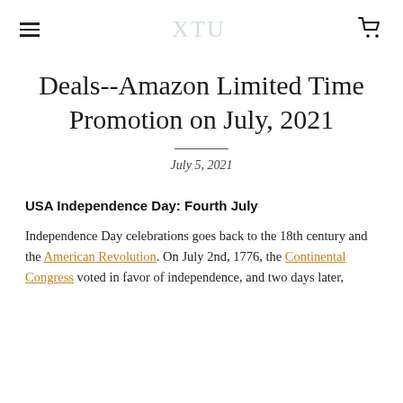≡  XTU  🛒
Deals--Amazon Limited Time Promotion on July, 2021
July 5, 2021
USA Independence Day: Fourth July
Independence Day celebrations goes back to the 18th century and the American Revolution. On July 2nd, 1776, the Continental Congress voted in favor of independence, and two days later,